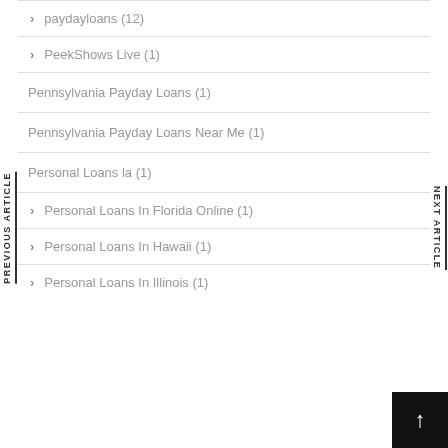paydayloans (12)
PeekShows Live (1)
Pennsylvania Payday Loans (1)
Pennsylvania Payday Loans Near Me (1)
Personal Loans la (1)
Personal Loans In Florida Online (1)
Personal Loans In Hawaii (1)
Personal Loans In Illinois (1)